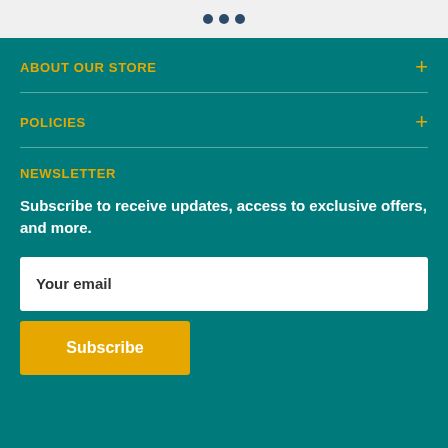ABOUT OUR STORE
POLICIES
NEWSLETTER
Subscribe to receive updates, access to exclusive offers, and more.
Your email
Subscribe